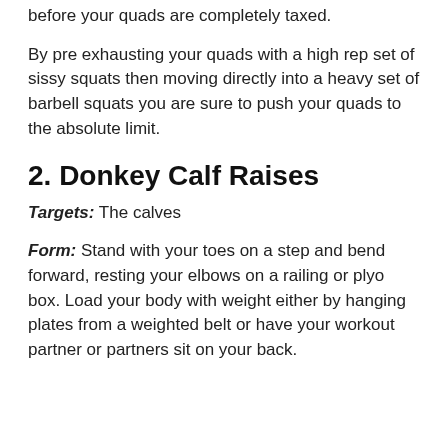before your quads are completely taxed.
By pre exhausting your quads with a high rep set of sissy squats then moving directly into a heavy set of barbell squats you are sure to push your quads to the absolute limit.
2. Donkey Calf Raises
Targets: The calves
Form: Stand with your toes on a step and bend forward, resting your elbows on a railing or plyo box. Load your body with weight either by hanging plates from a weighted belt or have your workout partner or partners sit on your back.